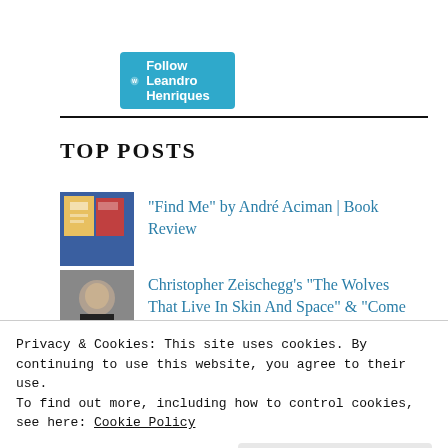[Figure (other): WordPress Follow button with cyan/teal background reading 'Follow Leandro Henriques']
TOP POSTS
[Figure (photo): Book cover thumbnail for Find Me by André Aciman]
"Find Me" by André Aciman | Book Review
[Figure (photo): Photo of Christopher Zeischegg]
Christopher Zeischegg's "The Wolves That Live In Skin And Space" & "Come To My
Privacy & Cookies: This site uses cookies. By continuing to use this website, you agree to their use.
To find out more, including how to control cookies, see here: Cookie Policy
Close and accept